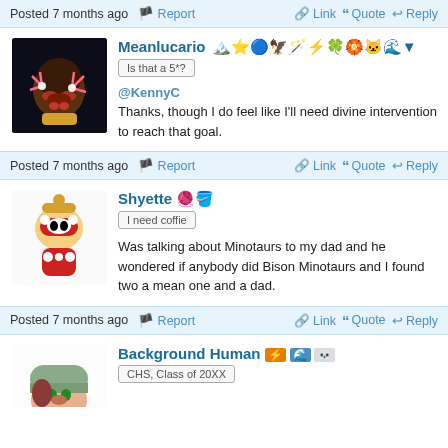Posted 7 months ago   Report   Link   Quote   Reply
Meanlucario
Is that a 5*?
@KennyC
Thanks, though I do feel like I'll need divine intervention to reach that goal.
Posted 7 months ago   Report   Link   Quote   Reply
Shyette
I need coffie
Was talking about Minotaurs to my dad and he wondered if anybody did Bison Minotaurs and I found two a mean one and a dad.
Posted 7 months ago   Report   Link   Quote   Reply
Background Human
CHS, Class of 20XX